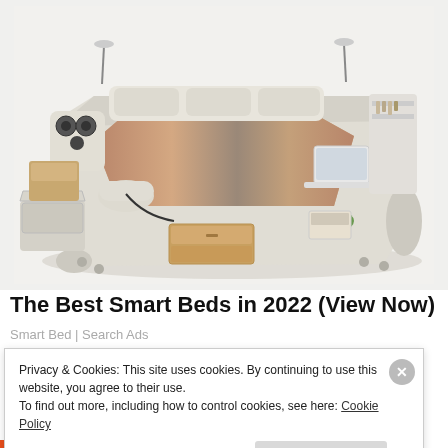[Figure (photo): A luxury multi-function smart bed with cream/beige upholstery, built-in speakers, storage drawers, massage chair attachment, lighting, shelving, and laptop stand, photographed from above at an angle on white background.]
The Best Smart Beds in 2022 (View Now)
Smart Bed | Search Ads
Privacy & Cookies: This site uses cookies. By continuing to use this website, you agree to their use.
To find out more, including how to control cookies, see here: Cookie Policy
Close and accept